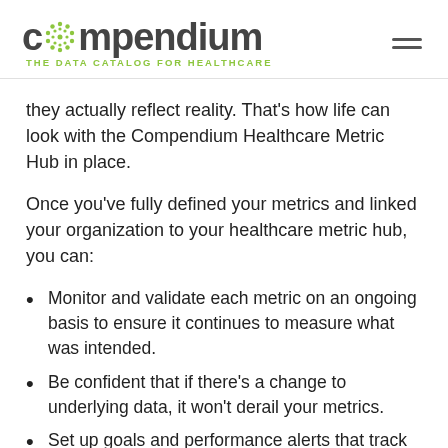[Figure (logo): Compendium logo with dotted 'o' and tagline 'THE DATA CATALOG FOR HEALTHCARE' in green]
they actually reflect reality. That's how life can look with the Compendium Healthcare Metric Hub in place.
Once you've fully defined your metrics and linked your organization to your healthcare metric hub, you can:
Monitor and validate each metric on an ongoing basis to ensure it continues to measure what was intended.
Be confident that if there's a change to underlying data, it won't derail your metrics.
Set up goals and performance alerts that track when your metrics improve or drop.